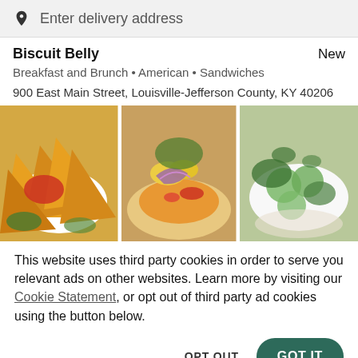Enter delivery address
Biscuit Belly
New
Breakfast and Brunch • American • Sandwiches
900 East Main Street, Louisville-Jefferson County, KY 40206
[Figure (photo): Three food dish photos side by side: nachos/chips with salsa on left, taco bowl with corn, shredded cheese, red onion, peppers in center, cucumber herb salad on right]
This website uses third party cookies in order to serve you relevant ads on other websites. Learn more by visiting our Cookie Statement, or opt out of third party ad cookies using the button below.
OPT OUT
GOT IT